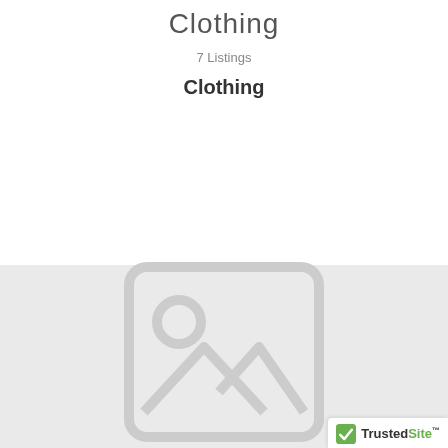Clothing
7 Listings
Clothing
[Figure (illustration): Placeholder image icon showing a landscape with mountains and a sun, on a light grey background]
[Figure (logo): TrustedSite badge with green checkmark]